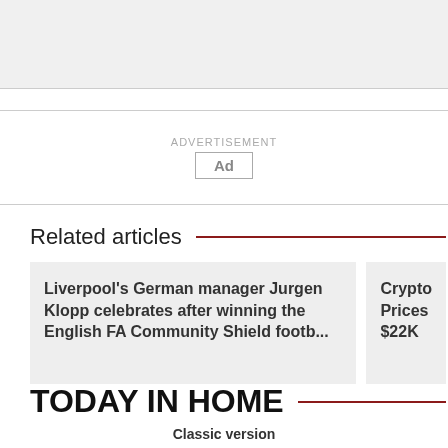[Figure (other): Top gray banner area]
ADVERTISEMENT
Ad
Related articles
Liverpool's German manager Jurgen Klopp celebrates after winning the English FA Community Shield footb...
Crypto Prices $22K
TODAY IN HOME
Classic version